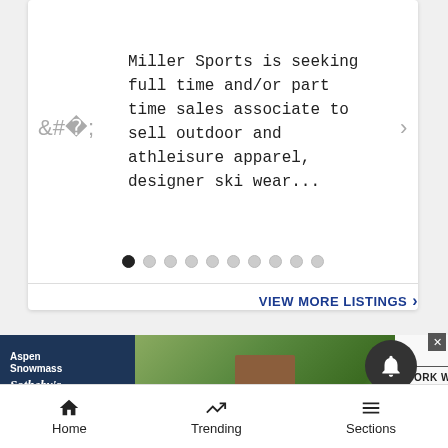Miller Sports is seeking full time and/or part time sales associate to sell outdoor and athleisure apparel, designer ski wear...
[Figure (screenshot): Carousel dot navigation with 10 dots, first dot filled/active]
VIEW MORE LISTINGS ›
[Figure (screenshot): Aspen Snowmass Sotheby's International Realty advertisement banner with photo of luxury home entrance and 'WORK WITH US' button]
[Figure (infographic): Bottom navigation bar with Home, Trending, and Sections icons]